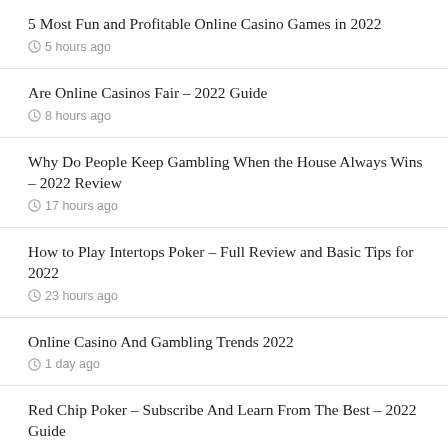5 Most Fun and Profitable Online Casino Games in 2022
5 hours ago
Are Online Casinos Fair – 2022 Guide
8 hours ago
Why Do People Keep Gambling When the House Always Wins – 2022 Review
17 hours ago
How to Play Intertops Poker – Full Review and Basic Tips for 2022
23 hours ago
Online Casino And Gambling Trends 2022
1 day ago
Red Chip Poker – Subscribe And Learn From The Best – 2022 Guide